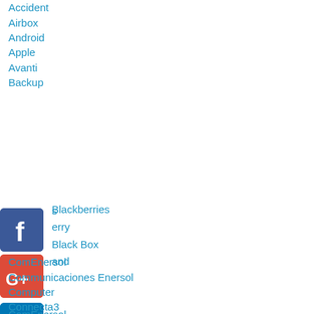Accident
Airbox
Android
Apple
Avanti
Backup
Blackberries
BlackBerry
Black Box
Broadband
[Figure (logo): Facebook social media icon - blue square with white 'f' letter]
[Figure (logo): Google+ social media icon - red square with white 'G+' letters]
[Figure (logo): LinkedIn social media icon - blue square with white 'in' letters]
ComEnersol
Communicaciones Enersol
Computer
Connecta3
Cryptolocker
CVADY-I477
Dvr